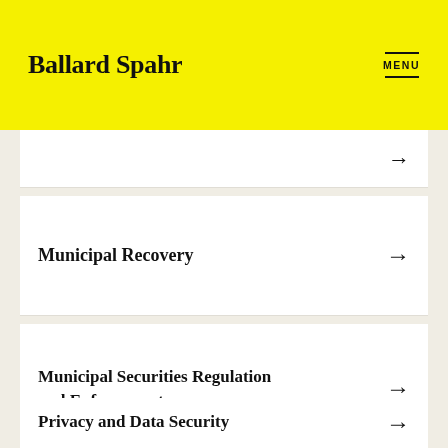Ballard Spahr | MENU
(partial top item with arrow)
Municipal Recovery →
Municipal Securities Regulation and Enforcement →
Privacy and Data Security →